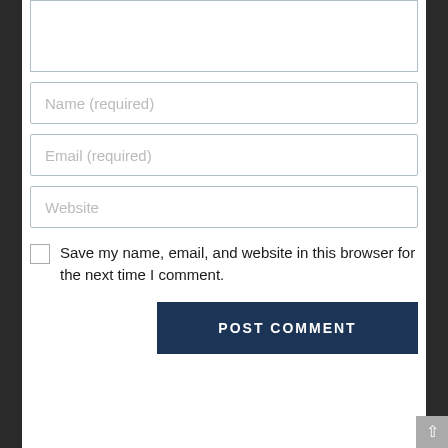[Figure (screenshot): Comment form with textarea (partially visible at top), Name (required) input, Email (required) input, Website input, a checkbox with label 'Save my name, email, and website in this browser for the next time I comment.', a POST COMMENT button, and a scroll-to-top button in the bottom-right corner.]
Name (required)
Email (required)
Website
Save my name, email, and website in this browser for the next time I comment.
POST COMMENT